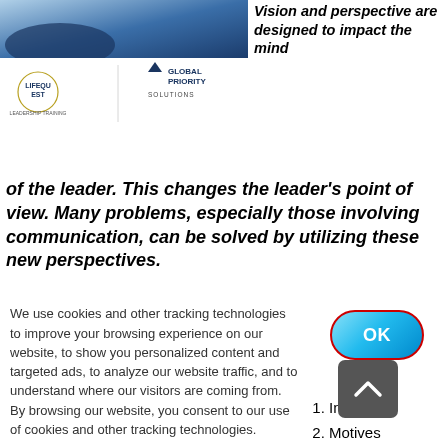[Figure (logo): Top banner image with blue graphic, LifeQuest logo and Global Priority Solutions logo]
Vision and perspective are designed to impact the mind of the leader. This changes the leader’s point of view. Many problems, especially those involving communication, can be solved by utilizing these new perspectives.
1. Inspirati
2. Motives
3. Develop People
We use cookies and other tracking technologies to improve your browsing experience on our website, to show you personalized content and targeted ads, to analyze our website traffic, and to understand where our visitors are coming from. By browsing our website, you consent to our use of cookies and other tracking technologies.